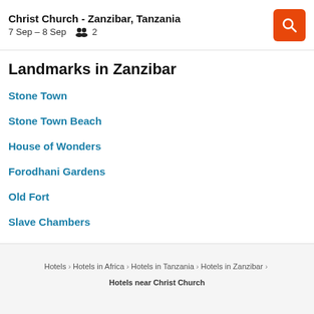Christ Church - Zanzibar, Tanzania | 7 Sep – 8 Sep | 2 guests
Landmarks in Zanzibar
Stone Town
Stone Town Beach
House of Wonders
Forodhani Gardens
Old Fort
Slave Chambers
Hotels > Hotels in Africa > Hotels in Tanzania > Hotels in Zanzibar > Hotels near Christ Church